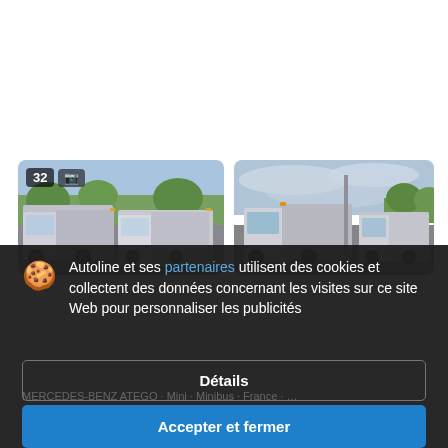[Figure (photo): Photo of commercial trucks/vans in a parking area with trees and sky background. Badge showing '32' and camera icon in top-left corner.]
[Figure (photo): Second photo of commercial trucks/vans in a parking area with cloudy sky background.]
Autoline et ses partenaires utilisent des cookies et collectent des données concernant les visites sur ce site Web pour personnaliser les publicités
Détails
Accepter et fermer